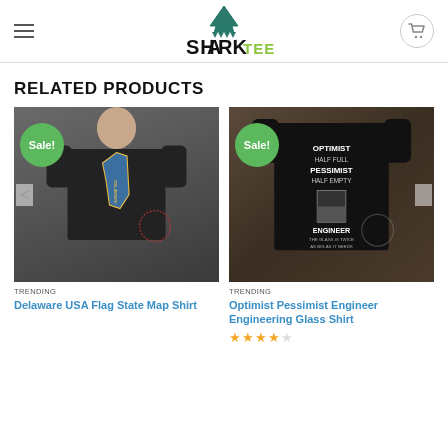SharkTee logo with hamburger menu and cart
RELATED PRODUCTS
[Figure (photo): Man wearing black Delaware USA Flag State Map Shirt with Sale! badge]
TRENDING
Delaware USA Flag State Map Shirt
[Figure (photo): Black t-shirt with Optimist Pessimist Engineer text design, Sale! badge]
TRENDING
Optimist Pessimist Engineer Engineering Glass Shirt
[Figure (other): Star rating (approximately 4 stars)]